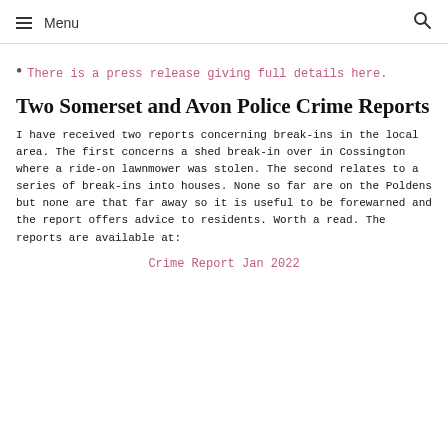Menu
There is a press release giving full details here.
Two Somerset and Avon Police Crime Reports
I have received two reports concerning break-ins in the local area. The first concerns a shed break-in over in Cossington where a ride-on lawnmower was stolen. The second relates to a series of break-ins into houses. None so far are on the Poldens but none are that far away so it is useful to be forewarned and the report offers advice to residents. Worth a read. The reports are available at:
Crime Report Jan 2022